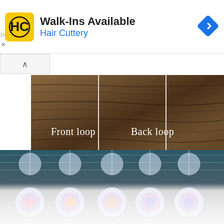[Figure (screenshot): Hair Cuttery advertisement banner with yellow HC logo, 'Walk-Ins Available' text in bold, 'Hair Cuttery' in blue, and a blue navigation diamond icon on the right]
[Figure (photo): Close-up photo of wood grain texture with two vertical white lines and white text labels reading 'Front loop' and 'Back loop' indicating parts of a crochet stitch]
@crochetkitten explains the difference between FLO and BLO crochet and when to use each
[Figure (photo): Photo of multiple iridescent white crochet mandala ornaments hanging on a chain-link fence with plants in the background, partially faded at the bottom]